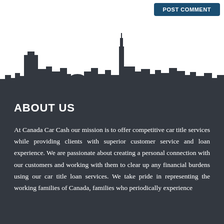[Figure (illustration): Dark silhouette of a city skyline against a white background, showing various buildings and skyscrapers of different heights]
ABOUT US
At Canada Car Cash our mission is to offer competitive car title services while providing clients with superior customer service and loan experience. We are passionate about creating a personal connection with our customers and working with them to clear up any financial burdens using our car title loan services. We take pride in representing the working families of Canada, families who periodically experience